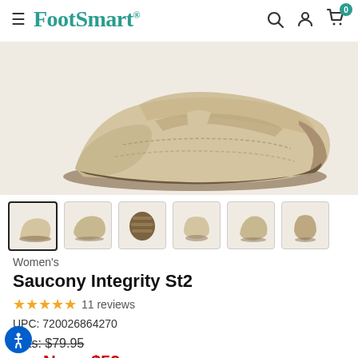FootSmart
[Figure (photo): Main product photo of Saucony Integrity St2 women's shoe in tan/beige, shown from the side angle against a light beige background]
[Figure (photo): Row of 6 thumbnail images of the Saucony Integrity St2 shoe from different angles: side, three-quarter, sole, front, back-angle, heel]
Women's
Saucony Integrity St2
★★★★★ 11 reviews
UPC: 720026864270
Was: $79.95
Now: $59
Save 26%